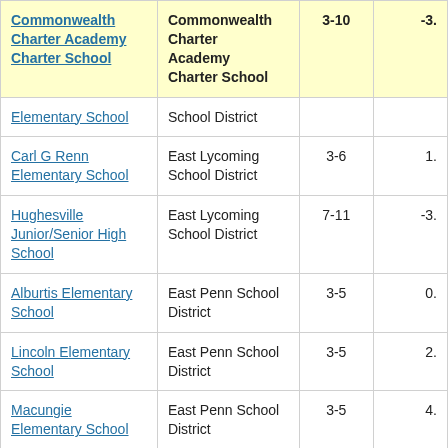| School | District | Grades | Value |
| --- | --- | --- | --- |
| Commonwealth Charter Academy Charter School | Commonwealth Charter Academy Charter School | 3-10 | -3. |
| Elementary School | School District |  |  |
| Carl G Renn Elementary School | East Lycoming School District | 3-6 | 1. |
| Hughesville Junior/Senior High School | East Lycoming School District | 7-11 | -3. |
| Alburtis Elementary School | East Penn School District | 3-5 | 0. |
| Lincoln Elementary School | East Penn School District | 3-5 | 2. |
| Macungie Elementary School | East Penn School District | 3-5 | 4. |
| Jefferson Elementary School | East Penn School District | 3-5 | 4. |